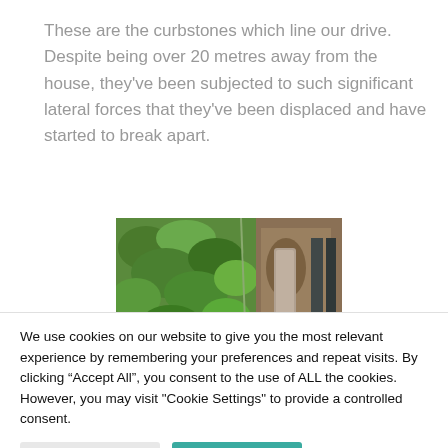These are the curbstones which line our drive. Despite being over 20 metres away from the house, they’ve been subjected to such significant lateral forces that they’ve been displaced and have started to break apart.
[Figure (photo): Photograph of curbstones beside green foliage/hedge, with displaced stone visible]
We use cookies on our website to give you the most relevant experience by remembering your preferences and repeat visits. By clicking “Accept All”, you consent to the use of ALL the cookies. However, you may visit "Cookie Settings" to provide a controlled consent.